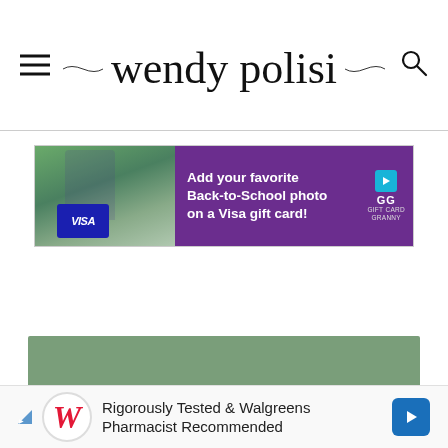wendy polisi — navigation header with hamburger menu and search icon
[Figure (infographic): Advertisement banner for Gift Card Granny / Visa — Add your favorite Back-to-School photo on a Visa gift card!]
[Figure (infographic): Green section background bar]
[Figure (infographic): Advertisement banner — Rigorously Tested & Walgreens Pharmacist Recommended]